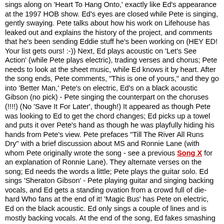sings along on 'Heart To Hang Onto,' exactly like Ed's appearance at the 1997 HOB show. Ed's eyes are closed while Pete is singing, gently swaying. Pete talks about how his work on Lifehouse has leaked out and explains the history of the project, and comments that he's been sending Eddie stuff he's been working on (HEY ED! Your list gets ours! :-)) Next, Ed plays acoustic on 'Let's See Action' (while Pete plays electric), trading verses and chorus; Pete needs to look at the sheet music, while Ed knows it by heart. After the song ends, Pete comments, "This is one of yours," and they go into 'Better Man,' Pete's on electric, Ed's on a black acoustic Gibson (no pick) - Pete singing the counterpart on the choruses (!!!!) (No 'Save It For Later', though!) It appeared as though Pete was looking to Ed to get the chord changes; Ed picks up a towel and puts it over Pete's hand as though he was playfully hiding his hands from Pete's view. Pete prefaces "Till The River All Runs Dry" with a brief discussion about MS and Ronnie Lane (with whom Pete originally wrote the song - see a previous Song X for an explanation of Ronnie Lane). They alternate verses on the song; Ed needs the words a little; Pete plays the guitar solo. Ed sings 'Sheraton Gibson' - Pete playing guitar and singing backing vocals, and Ed gets a standing ovation from a crowd full of die-hard Who fans at the end of it! 'Magic Bus' has Pete on electric, Ed on the black acoustic. Ed only sings a couple of lines and is mostly backing vocals. At the end of the song, Ed fakes smashing his guitar. =) Before "I'm One," Pete commented that Ed was nervous about this one, because Pete usually closes with it (at his solo acoustic shows) - "But it sounds nice when Ed sings it." (awwwwwwww) Ed's on vocals, Pete's